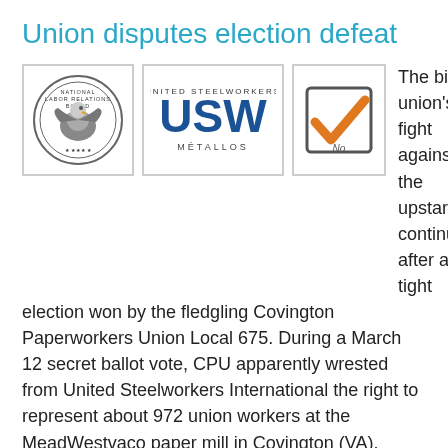Union disputes election defeat
[Figure (logo): National Labor Relations Board circular seal logo]
[Figure (logo): United Steelworkers USW Metallos logo]
[Figure (illustration): Checkbox with orange checkmark and 'No' written on it]
The big union's fight against the upstart continues after a tight election won by the fledgling Covington Paperworkers Union Local 675. During a March 12 secret ballot vote, CPU apparently wrested from United Steelworkers International the right to represent about 972 union workers at the MeadWestvaco paper mill in Covington (VA).
The National Labor Relations Board, which held and supervised the election, must certify the vote before CPU's victory becomes official.
On Wednesday, USW petitioned the NLRB for a new election.
Its petition cited 15 examples of alleged misconduct by CPU in the weeks and months preceding the election. The